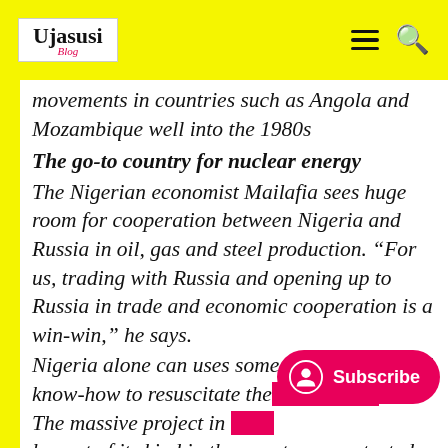Ujasusi Blog
movements in countries such as Angola and Mozambique well into the 1980s
The go-to country for nuclear energy
The Nigerian economist Mailafia sees huge room for cooperation between Nigeria and Russia in oil, gas and steel production. “For us, trading with Russia and opening up to Russia in trade and economic cooperation is a win-win,” he says.
Nigeria alone can uses some Russian help and know-how to resuscitate the [obscured] Mill. The massive project in [obscured] largest of its kind in the country, was started